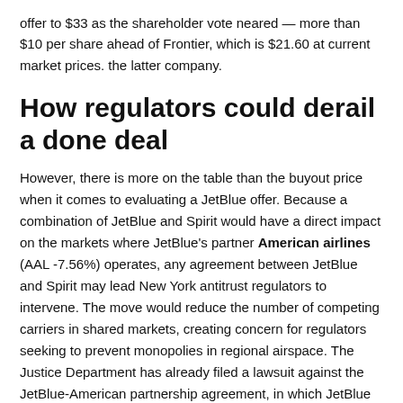offer to $33 as the shareholder vote neared — more than $10 per share ahead of Frontier, which is $21.60 at current market prices. the latter company.
How regulators could derail a done deal
However, there is more on the table than the buyout price when it comes to evaluating a JetBlue offer. Because a combination of JetBlue and Spirit would have a direct impact on the markets where JetBlue's partner American airlines (AAL -7.56%) operates, any agreement between JetBlue and Spirit may lead New York antitrust regulators to intervene. The move would reduce the number of competing carriers in shared markets, creating concern for regulators seeking to prevent monopolies in regional airspace. The Justice Department has already filed a lawsuit against the JetBlue-American partnership agreement, in which JetBlue would serve many American flights, sharing terminal space and simplifying transfers